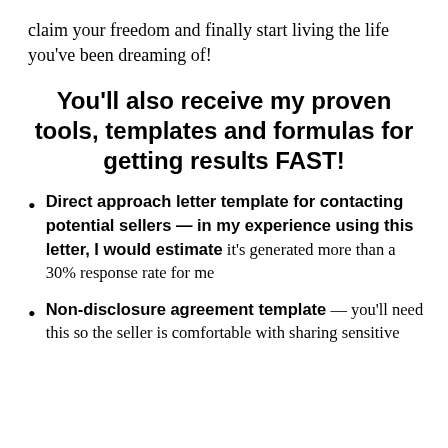claim your freedom and finally start living the life you've been dreaming of!
You'll also receive my proven tools, templates and formulas for getting results FAST!
Direct approach letter template for contacting potential sellers — in my experience using this letter, I would estimate it's generated more than a 30% response rate for me
Non-disclosure agreement template — you'll need this so the seller is comfortable with sharing sensitive